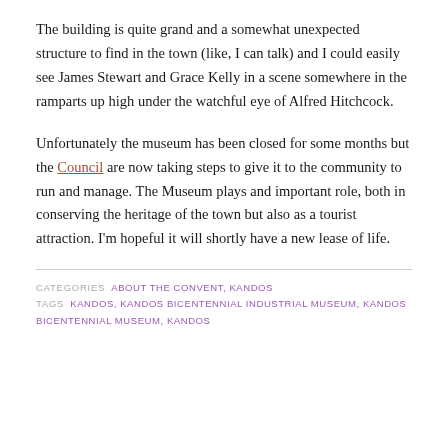The building is quite grand and a somewhat unexpected structure to find in the town (like, I can talk) and I could easily see James Stewart and Grace Kelly in a scene somewhere in the ramparts up high under the watchful eye of Alfred Hitchcock.
Unfortunately the museum has been closed for some months but the Council are now taking steps to give it to the community to run and manage. The Museum plays and important role, both in conserving the heritage of the town but also as a tourist attraction. I'm hopeful it will shortly have a new lease of life.
CATEGORIES  ABOUT THE CONVENT, KANDOS
TAGS  KANDOS, KANDOS BICENTENNIAL INDUSTRIAL MUSEUM, KANDOS BICENTENNIAL MUSEUM, KANDOS